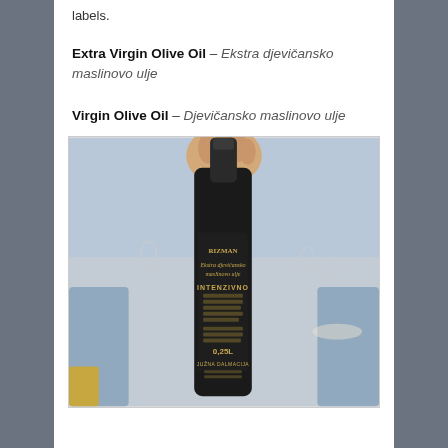labels.
Extra Virgin Olive Oil – Ekstra djevičansko maslinovo ulje
Virgin Olive Oil – Djevičansko maslinovo ulje
[Figure (photo): A hand holding a dark bottle of Rizman Extra Virgin Olive Oil labeled 'Intenzivno', 0.25L, Južna Dalmacija, with restaurant interior in the background.]